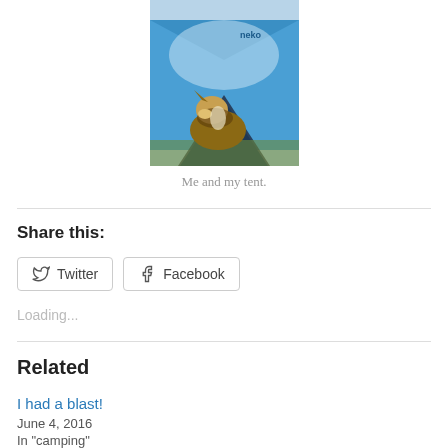[Figure (photo): A sheltie/collie dog sitting inside or in front of a blue camping tent on grass]
Me and my tent.
Share this:
Twitter  Facebook
Loading...
Related
I had a blast!
June 4, 2016
In "camping"